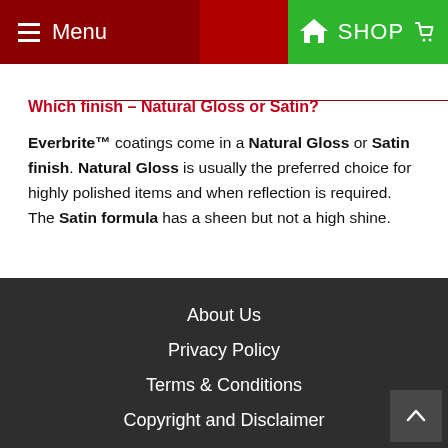Menu | SHOP
Which finish – Natural Gloss or Satin?
Everbrite™ coatings come in a Natural Gloss or Satin finish. Natural Gloss is usually the preferred choice for highly polished items and when reflection is required. The Satin formula has a sheen but not a high shine.
About Us
Privacy Policy
Terms & Conditions
Copyright and Disclaimer